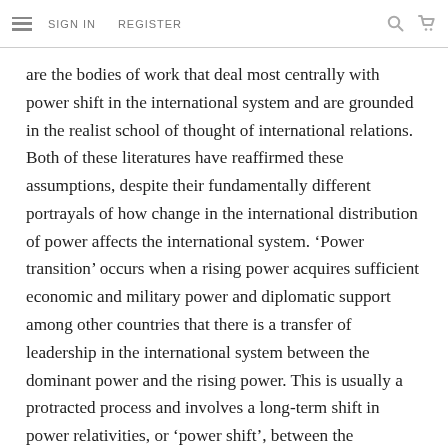SIGN IN   REGISTER
are the bodies of work that deal most centrally with power shift in the international system and are grounded in the realist school of thought of international relations. Both of these literatures have reaffirmed these assumptions, despite their fundamentally different portrayals of how change in the international distribution of power affects the international system. ‘Power transition’ occurs when a rising power acquires sufficient economic and military power and diplomatic support among other countries that there is a transfer of leadership in the international system between the dominant power and the rising power. This is usually a protracted process and involves a long-term shift in power relativities, or ‘power shift’, between the dominant power and rising power that usually precedes a full power transition. The tendency of both the power transition and alliance literatures to focus on the major powers as the key protagonists of such change, however, has largely precluded